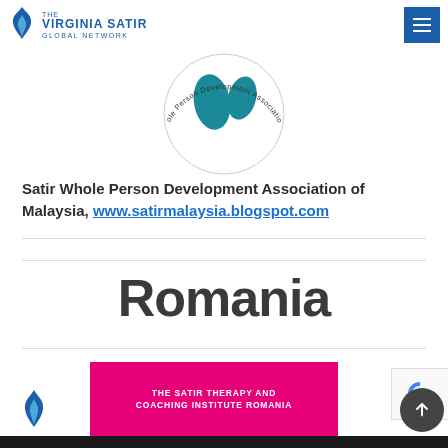The Virginia Satir Global Network
[Figure (logo): Circular logo for Satir Whole Person Development Association of Malaysia — teal footprint/figure illustration with curved text around the circle]
Satir Whole Person Development Association of Malaysia, www.satirmalaysia.blogspot.com
Romania
[Figure (logo): The Satir Therapy and Coaching Institute Romania logo on a pink/magenta background with white text]